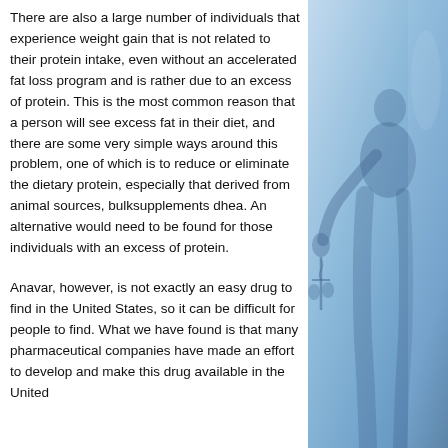There are also a large number of individuals that experience weight gain that is not related to their protein intake, even without an accelerated fat loss program and is rather due to an excess of protein. This is the most common reason that a person will see excess fat in their diet, and there are some very simple ways around this problem, one of which is to reduce or eliminate the dietary protein, especially that derived from animal sources, bulksupplements dhea. An alternative would need to be found for those individuals with an excess of protein.
Anavar, however, is not exactly an easy drug to find in the United States, so it can be difficult for people to find. What we have found is that many pharmaceutical companies have made an effort to develop and make this drug available in the United
[Figure (photo): Blue-tinted image of a person in medical/professional setting, appearing to hold or work with something, rendered in shades of blue]